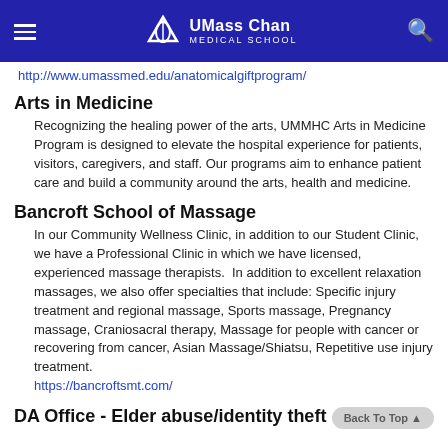UMass Chan Medical School
http://www.umassmed.edu/anatomicalgiftprogram/
Arts in Medicine
Recognizing the healing power of the arts, UMMHC Arts in Medicine Program is designed to elevate the hospital experience for patients, visitors, caregivers, and staff. Our programs aim to enhance patient care and build a community around the arts, health and medicine.
Bancroft School of Massage
In our Community Wellness Clinic, in addition to our Student Clinic, we have a Professional Clinic in which we have licensed, experienced massage therapists.  In addition to excellent relaxation massages, we also offer specialties that include: Specific injury treatment and regional massage, Sports massage, Pregnancy massage, Craniosacral therapy, Massage for people with cancer or recovering from cancer, Asian Massage/Shiatsu, Repetitive use injury treatment.
https://bancroftsmt.com/
DA Office - Elder abuse/identity theft